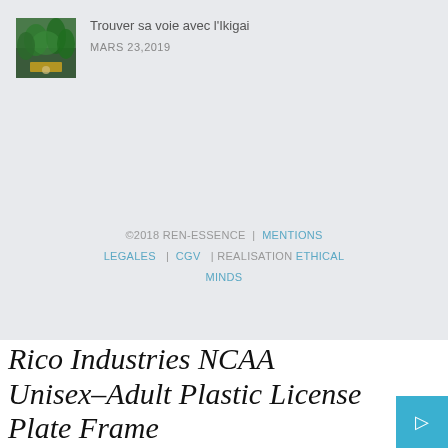[Figure (photo): Thumbnail book cover for 'Trouver sa voie avec l'Ikigai' showing a green nature scene]
Trouver sa voie avec l'Ikigai
MARS 23,2019
©2018 REN-ESSENCE | MENTIONS LEGALES | CGV | REALISATION ETHICAL MINDS
Rico Industries NCAA Unisex-Adult Plastic License Plate Frame